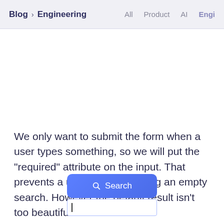Blog > Engineering   All  Product  AI  Engi
We only want to submit the form when a user types something, so we will put the “required” attribute on the input. That prevents a user from submitting an empty search. However the default result isn’t too beautiful:
[Figure (screenshot): A blue 'Search' button with a search icon, and below it a text input field with a cursor, showing the default browser UI for a required search form.]